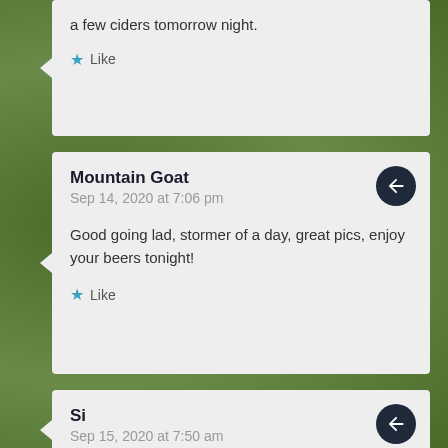a few ciders tomorrow night.
Like
Mountain Goat
Sep 14, 2020 at 7:06 pm
Good going lad, stormer of a day, great pics, enjoy your beers tonight!
Like
Si
Sep 15, 2020 at 7:50 am
Sounded a tough day but plenty of rewards along the way!